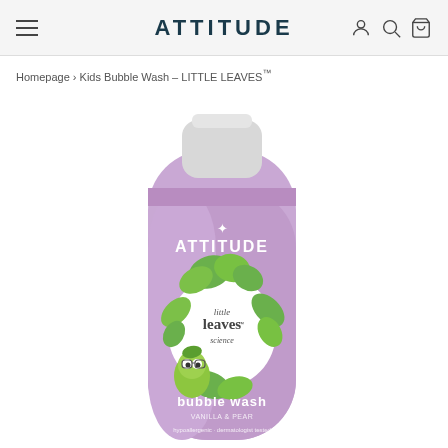ATTITUDE
Homepage › Kids Bubble Wash – LITTLE LEAVES™
[Figure (photo): ATTITUDE Little Leaves Science bubble wash bottle in lavender/purple color with vanilla & pear scent, featuring a cartoon green leaf monster character and green leaf decorations. The bottle has a white cap.]
[Figure (logo): EWG Verified circular badge in green with text 'EWG VERIFIED' and 'FOR YOUR HEALTH · EWG.ORG']
[Figure (other): Circular plus (+) button for adding to cart or expanding product options]